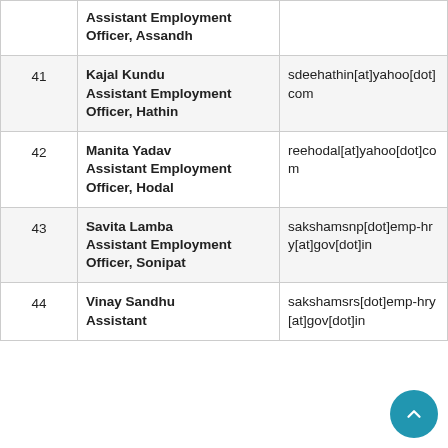| # | Name / Designation | Email |
| --- | --- | --- |
|  | Assistant Employment Officer, Assandh |  |
| 41 | Kajal Kundu
Assistant Employment Officer, Hathin | sdeehathin[at]yahoo[dot]com |
| 42 | Manita Yadav
Assistant Employment Officer, Hodal | reehodal[at]yahoo[dot]com |
| 43 | Savita Lamba
Assistant Employment Officer, Sonipat | sakshamsnp[dot]emp-hry[at]gov[dot]in |
| 44 | Vinay Sandhu
Assistant ... | sakshamsrs[dot]emp-hry[at]gov[dot]in |